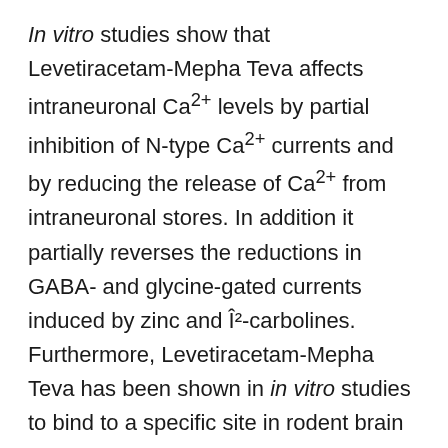In vitro studies show that Levetiracetam-Mepha Teva affects intraneuronal Ca2+ levels by partial inhibition of N-type Ca2+ currents and by reducing the release of Ca2+ from intraneuronal stores. In addition it partially reverses the reductions in GABA- and glycine-gated currents induced by zinc and Î²-carbolines. Furthermore, Levetiracetam-Mepha Teva has been shown in in vitro studies to bind to a specific site in rodent brain tissue. This binding site is the synaptic vesicle protein 2A, believed to be involved in vesicle fusion and neurotransmitter exocytosis. Levetiracetam-Mepha Teva and related analogues show a rank order of affinity for binding to the synaptic vesicle protein 2A which correlates with the potency of